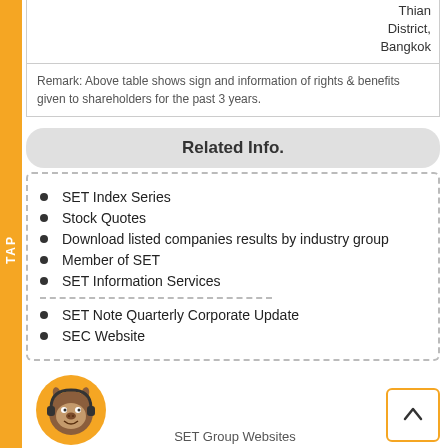| Thian District, Bangkok |
Remark: Above table shows sign and information of rights & benefits given to shareholders for the past 3 years.
Related Info.
SET Index Series
Stock Quotes
Download listed companies results by industry group
Member of SET
SET Information Services
SET Note Quarterly Corporate Update
SEC Website
SET Group Websites